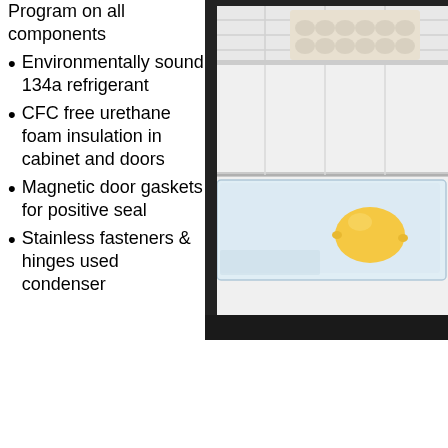Warranty Program on all components
Environmentally sound 134a refrigerant
CFC free urethane foam insulation in cabinet and doors
Magnetic door gaskets for positive seal
Stainless fasteners & hinges used condenser
[Figure (photo): Open refrigerator showing interior shelves with an egg carton on the upper shelf and a lemon in the crisper drawer. The refrigerator has a black exterior and white interior with wire shelves and a clear crisper drawer.]